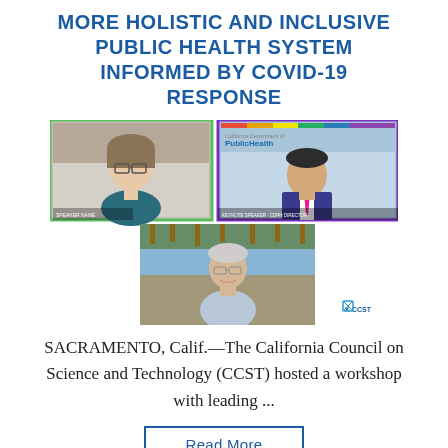MORE HOLISTIC AND INCLUSIVE PUBLIC HEALTH SYSTEM INFORMED BY COVID-19 RESPONSE
[Figure (photo): Screenshot of a virtual meeting/webinar showing three participants: a woman with glasses on the top-left panel with a green border, a man in a suit with pink tie on the top-right panel with a purple border showing a California Department of Public Health logo and rainbow bar, and an older man outdoors on the bottom-center panel. CCST logo appears in the bottom-right corner.]
SACRAMENTO, Calif.—The California Council on Science and Technology (CCST) hosted a workshop with leading ...
Read More